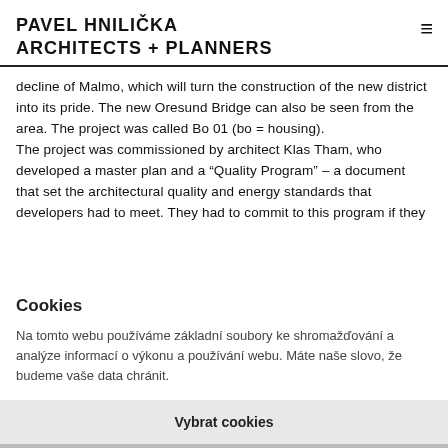PAVEL HNILIČKA ARCHITECTS + PLANNERS
decline of Malmo, which will turn the construction of the new district into its pride. The new Oresund Bridge can also be seen from the area. The project was called Bo 01 (bo = housing).
The project was commissioned by architect Klas Tham, who developed a master plan and a "Quality Program" – a document that set the architectural quality and energy standards that developers had to meet. They had to commit to this program if they
Cookies
Na tomto webu používáme základní soubory ke shromažďování a analýze informací o výkonu a používání webu. Máte naše slovo, že budeme vaše data chránit.
Vybrat cookies